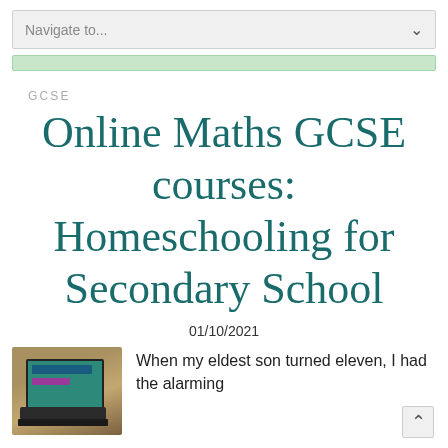Navigate to...
GCSE
Online Maths GCSE courses: Homeschooling for Secondary School
01/10/2021
[Figure (photo): Photo of a laptop on a desk showing a colourful screen, viewed from above]
When my eldest son turned eleven, I had the alarming